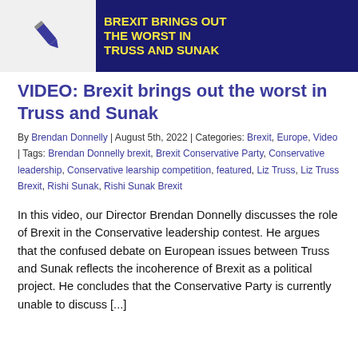[Figure (photo): Left: gray box with a pencil/pen icon. Right: dark blue image with yellow bold text reading 'BREXIT BRINGS OUT THE WORST IN TRUSS AND SUNAK' overlaid on a photo of a man.]
VIDEO: Brexit brings out the worst in Truss and Sunak
By Brendan Donnelly | August 5th, 2022 | Categories: Brexit, Europe, Video | Tags: Brendan Donnelly brexit, Brexit Conservative Party, Conservative leadership, Conservative learship competition, featured, Liz Truss, Liz Truss Brexit, Rishi Sunak, Rishi Sunak Brexit
In this video, our Director Brendan Donnelly discusses the role of Brexit in the Conservative leadership contest. He argues that the confused debate on European issues between Truss and Sunak reflects the incoherence of Brexit as a political project. He concludes that the Conservative Party is currently unable to discuss [...]